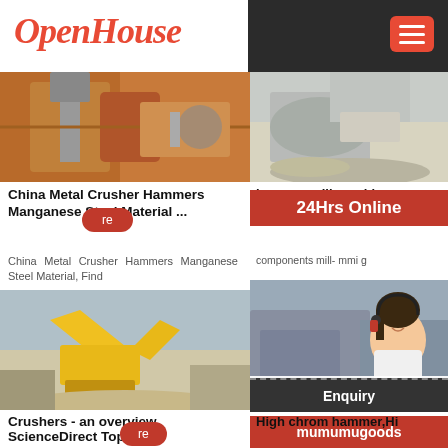OpenHouse
[Figure (photo): Industrial metal crusher or mill equipment with orange/metallic components]
China Metal Crusher Hammers Manganese Steel Material ...
China Metal Crusher Hammers Manganese Steel Material, Find
[Figure (photo): Crusher machine processing gravel/rock outdoors]
Crushers - an overview ScienceDirect Topics
[Figure (photo): Crusher or quarry machine with stone/sand piles]
hammer mill crushing component Machinery
components mill- mmi g
[Figure (photo): Crusher machinery in field with person customer service overlay and chat widget. Woman with headset shown. 24Hrs Online banner, Need questions & suggestion, Chat Now, Enquiry, mumumugoods]
High chrom hammer,Hi